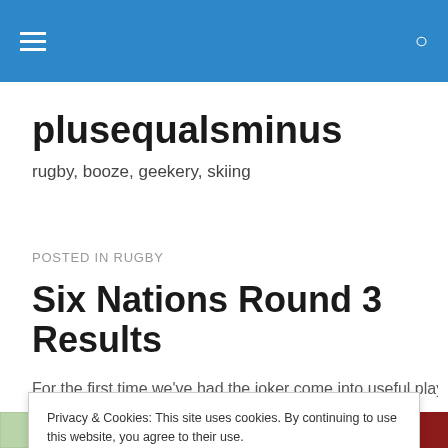plusequalsminus navigation bar
plusequalsminus
rugby, booze, geekery, skiing
POSTED IN RUGBY
Six Nations Round 3 Results
For the first time we've had the joker come into useful play...
Privacy & Cookies: This site uses cookies. By continuing to use this website, you agree to their use. To find out more, including how to control cookies, see here: Cookie Policy
| POSITION | SCORE |  |
| --- | --- | --- |